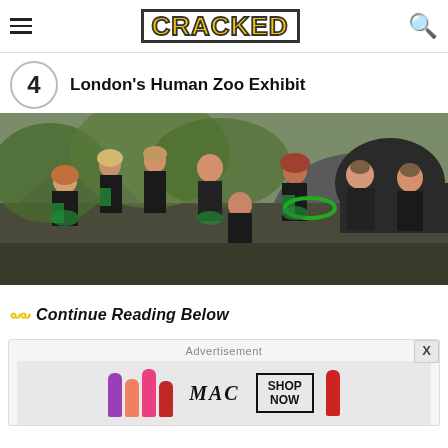CRACKED
4 London's Human Zoo Exhibit
[Figure (photo): Group of people dressed in primitive/cave-person costumes (leaf/dark swimwear) posing outdoors on rocky terrain near a cave entrance, as part of a London zoo human exhibit.]
Continue Reading Below
Advertisement